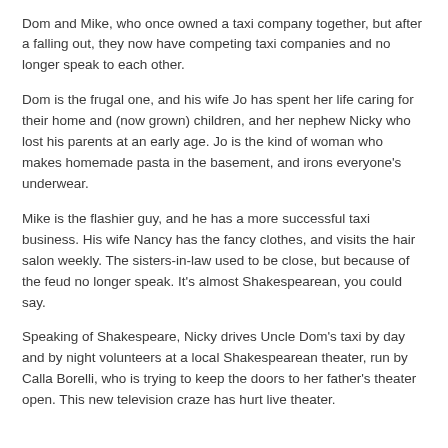Dom and Mike, who once owned a taxi company together, but after a falling out, they now have competing taxi companies and no longer speak to each other.
Dom is the frugal one, and his wife Jo has spent her life caring for their home and (now grown) children, and her nephew Nicky who lost his parents at an early age. Jo is the kind of woman who makes homemade pasta in the basement, and irons everyone's underwear.
Mike is the flashier guy, and he has a more successful taxi business. His wife Nancy has the fancy clothes, and visits the hair salon weekly. The sisters-in-law used to be close, but because of the feud no longer speak. It's almost Shakespearean, you could say.
Speaking of Shakespeare, Nicky drives Uncle Dom's taxi by day and by night volunteers at a local Shakespearean theater, run by Calla Borelli, who is trying to keep the doors to her father's theater open. This new television craze has hurt live theater.